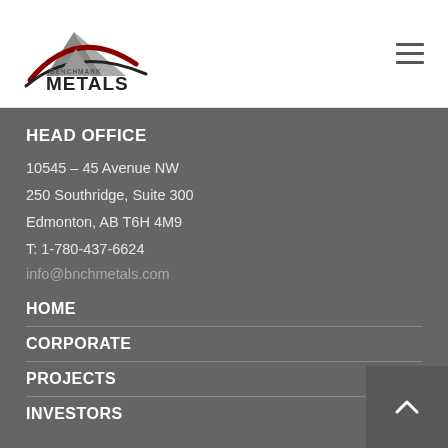[Figure (logo): Benchmark Metals company logo with mountain graphic and stylized text]
HEAD OFFICE
10545 – 45 Avenue NW
250 Southridge, Suite 300
Edmonton, AB T6H 4M9
T: 1-780-437-6624
info@bnchmetals.com
HOME
CORPORATE
PROJECTS
INVESTORS